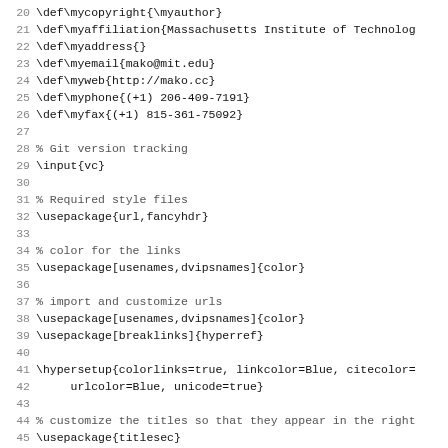Code listing lines 20-51 of a LaTeX preamble file showing definitions for copyright, affiliation, address, email, web, phone, fax, git version tracking, required style files, color settings, url packages, hypersetup, and titlesec configuration.